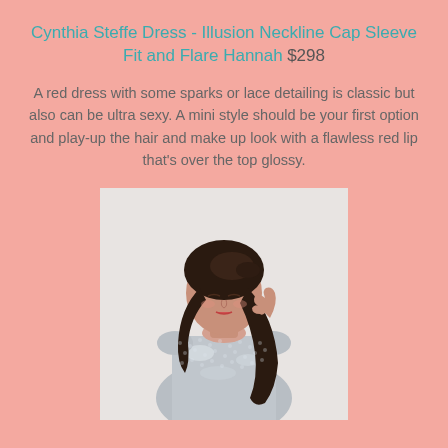Cynthia Steffe Dress - Illusion Neckline Cap Sleeve Fit and Flare Hannah $298
A red dress with some sparks or lace detailing is classic but also can be ultra sexy. A mini style should be your first option and play-up the hair and make up look with a flawless red lip that's over the top glossy.
[Figure (photo): A young woman with dark hair in a half-up style, wearing a silver/grey sequined cap sleeve fit-and-flare dress, looking down with one hand raised to her hair, on a white background.]